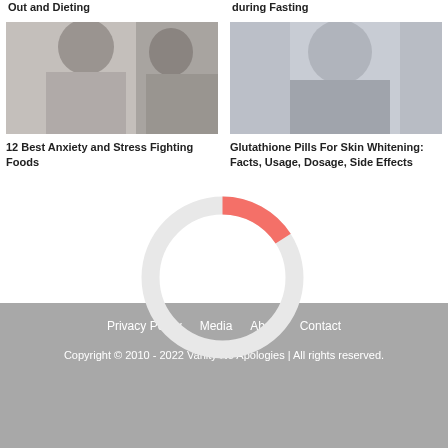Out and Dieting
during Fasting
[Figure (photo): Woman looking stressed, with overlay text reading STRESSED OUT? TRY THESE FOODS]
12 Best Anxiety and Stress Fighting Foods
[Figure (photo): Smiling woman with long dark hair wearing blue top]
Glutathione Pills For Skin Whitening: Facts, Usage, Dosage, Side Effects
[Figure (other): Loading spinner circle, mostly white with a small red/salmon arc segment]
Privacy Policy   Media   About   Contact

Copyright © 2010 - 2022 Vanity No Apologies | All rights reserved.